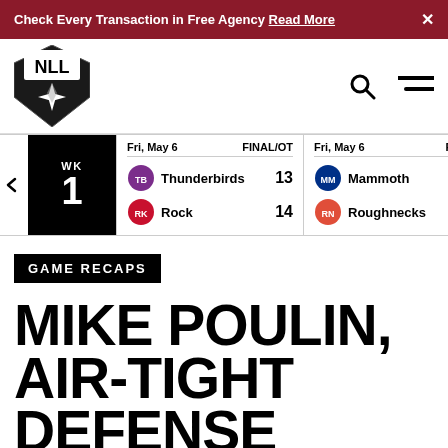Check Every Transaction in Free Agency Read More ×
[Figure (logo): NLL (National Lacrosse League) shield logo with star]
| Date | Status | Team | Score |
| --- | --- | --- | --- |
| Fri, May 6 | FINAL/OT | Thunderbirds | 13 |
| Fri, May 6 | FINAL/OT | Rock | 14 |
| Fri, May 6 | FINAL | Mammoth | 16 |
| Fri, May 6 | FINAL | Roughnecks | 12 |
GAME RECAPS
MIKE POULIN, AIR-TIGHT DEFENSE GIVES